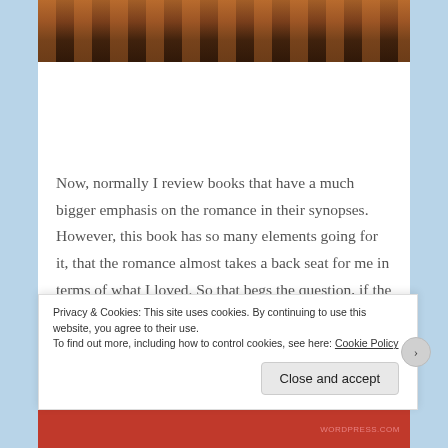[Figure (photo): Partial top portion of a photograph showing colorful European-style building facades and street scene, mostly dark/shadowed at the bottom.]
Now, normally I review books that have a much bigger emphasis on the romance in their synopses. However, this book has so many elements going for it, that the romance almost takes a back seat for me in terms of what I loved. So that begs the question, if the romance wasn't what kept me reading, what captured my
Privacy & Cookies: This site uses cookies. By continuing to use this website, you agree to their use.
To find out more, including how to control cookies, see here: Cookie Policy
Close and accept